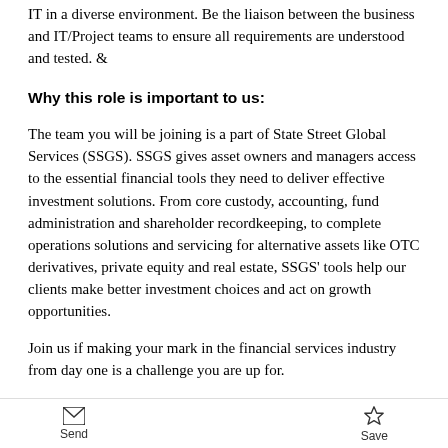IT in a diverse environment. Be the liaison between the business and IT/Project teams to ensure all requirements are understood and tested. &
Why this role is important to us:
The team you will be joining is a part of State Street Global Services (SSGS). SSGS gives asset owners and managers access to the essential financial tools they need to deliver effective investment solutions. From core custody, accounting, fund administration and shareholder recordkeeping, to complete operations solutions and servicing for alternative assets like OTC derivatives, private equity and real estate, SSGS' tools help our clients make better investment choices and act on growth opportunities.
Join us if making your mark in the financial services industry from day one is a challenge you are up for.
Send    Save